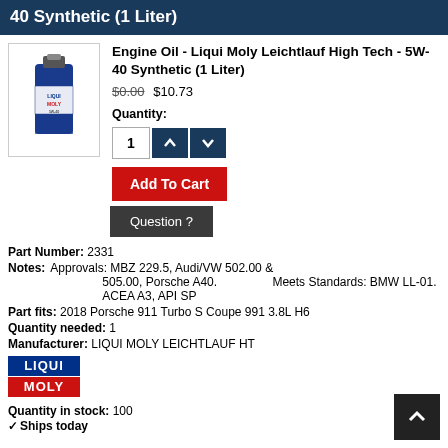40 Synthetic (1 Liter)
Engine Oil - Liqui Moly Leichtlauf High Tech - 5W-40 Synthetic (1 Liter)
$0.00 $10.73
Quantity:
[Figure (screenshot): Quantity input box with value 1 and up/down arrow buttons in dark blue]
Add To Cart
Question ?
Part Number: 2331
Notes: Approvals: MBZ 229.5, Audi/VW 502.00 & 505.00, Porsche A40. Meets Standards: BMW LL-01. ACEA A3, API SP
Part fits: 2018 Porsche 911 Turbo S Coupe 991 3.8L H6
Quantity needed: 1
Manufacturer: LIQUI MOLY LEICHTLAUF HT
[Figure (logo): Liqui Moly logo with LIQUI in blue block and MOLY in red block]
Quantity in stock: 100
Ships today